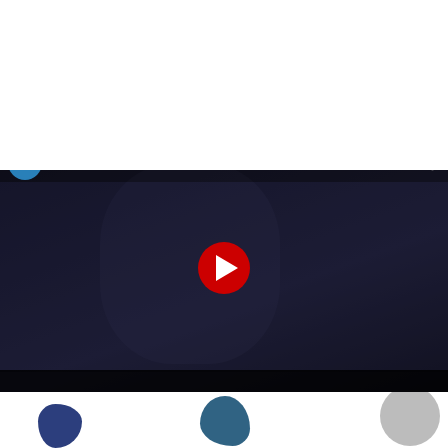FOUNDATION GUIDE
Daniel and Nina Carasso Foundation
In France:
40, avenue Hoche
75008 Paris
contact@fondatio...
[Figure (screenshot): YouTube video embed showing a woman, with title 'Fondation Daniel et Nina Carasso : n...' and a red play button]
[Figure (logo): Carasso Daniel & Nina foundation logo — teal text on white background]